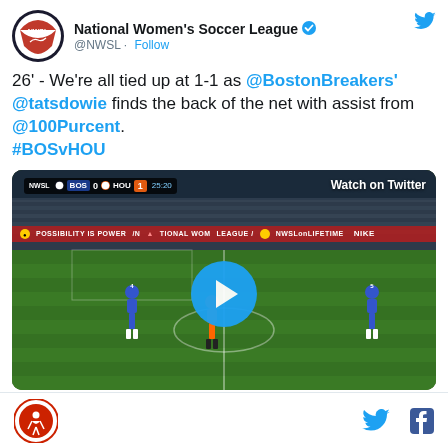National Women's Soccer League @NWSL · Follow
26' - We're all tied up at 1-1 as @BostonBreakers' @tatsdowie finds the back of the net with assist from @100Purcent. #BOSvHOU
[Figure (screenshot): Video embed showing a soccer match with scoreboard overlay reading BOS 0 HOU 1 25:20, a play button in the center, and text 'Watch on Twitter' in upper right. Advertising banner reads 'POSSIBILITY IS POWER / NATIONAL WOMEN'S SOCCER LEAGUE / NWSLonLIFETIME / NIKE']
NWSL logo, Twitter bird icon, Facebook icon